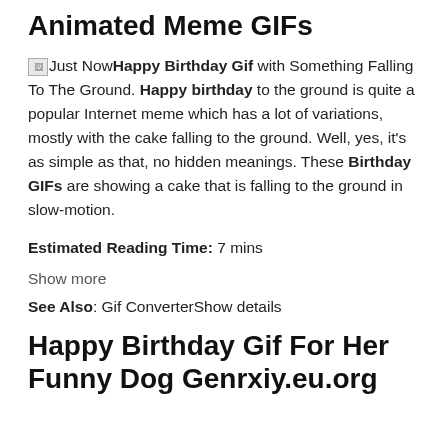Animated Meme GIFs
[Just Now] Happy Birthday Gif with Something Falling To The Ground. Happy birthday to the ground is quite a popular Internet meme which has a lot of variations, mostly with the cake falling to the ground. Well, yes, it's as simple as that, no hidden meanings. These Birthday GIFs are showing a cake that is falling to the ground in slow-motion.
Estimated Reading Time: 7 mins
Show more
See Also: Gif ConverterShow details
Happy Birthday Gif For Her Funny Dog Genrxiy.eu.org